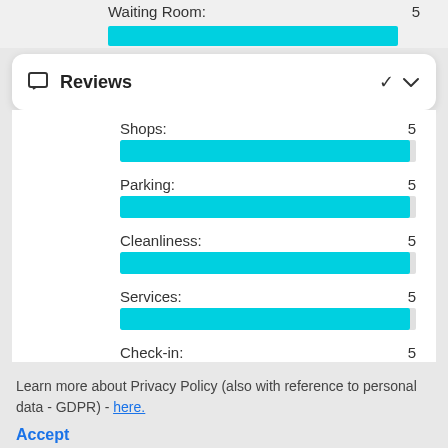Waiting Room: 5
Reviews
Shops: 5
Parking: 5
Cleanliness: 5
Services: 5
Check-in: 5
Learn more about Privacy Policy (also with reference to personal data - GDPR) - here.
Accept